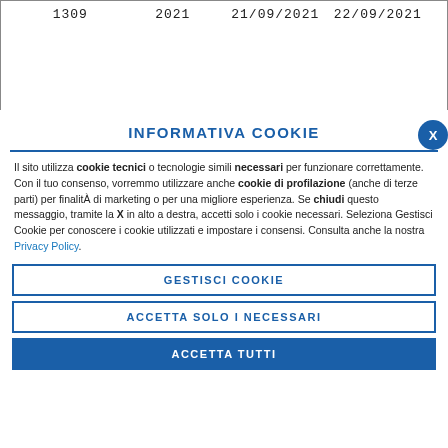| 1309 | 2021 | 21/09/2021 | 22/09/2021 |
INFORMATIVA COOKIE
Il sito utilizza cookie tecnici o tecnologie simili necessari per funzionare correttamente. Con il tuo consenso, vorremmo utilizzare anche cookie di profilazione (anche di terze parti) per finalitÀ di marketing o per una migliore esperienza. Se chiudi questo messaggio, tramite la X in alto a destra, accetti solo i cookie necessari. Seleziona Gestisci Cookie per conoscere i cookie utilizzati e impostare i consensi. Consulta anche la nostra Privacy Policy.
GESTISCI COOKIE
ACCETTA SOLO I NECESSARI
ACCETTA TUTTI